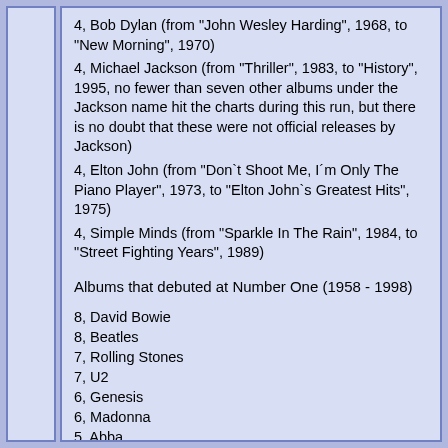4, Bob Dylan (from "John Wesley Harding", 1968, to "New Morning", 1970)
4, Michael Jackson (from "Thriller", 1983, to "History", 1995, no fewer than seven other albums under the Jackson name hit the charts during this run, but there is no doubt that these were not official releases by Jackson)
4, Elton John (from "Don`t Shoot Me, I´m Only The Piano Player", 1973, to "Elton John`s Greatest Hits", 1975)
4, Simple Minds (from "Sparkle In The Rain", 1984, to "Street Fighting Years", 1989)
Albums that debuted at Number One (1958 - 1998)
8, David Bowie
8, Beatles
7, Rolling Stones
7, U2
6, Genesis
6, Madonna
5, Abba
5, Phil Collins